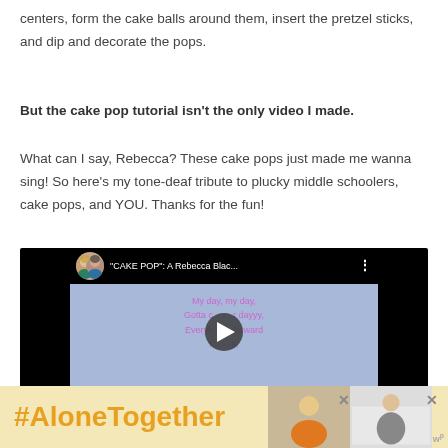centers, form the cake balls around them, insert the pretzel sticks, and dip and decorate the pops.
But the cake pop tutorial isn't the only video I made.
What can I say, Rebecca? These cake pops just made me wanna sing! So here's my tone-deaf tribute to plucky middle schoolers, cake pops, and YOU. Thanks for the fun!
[Figure (screenshot): YouTube video thumbnail showing two women in a circular avatar, title '"CAKE POP": A Rebecca Blac...' with lyrics text on a blue background and a play button in center]
[Figure (infographic): Advertisement banner with '#AloneTogether' text in orange on yellow background, with photos of people on the right side and close buttons]